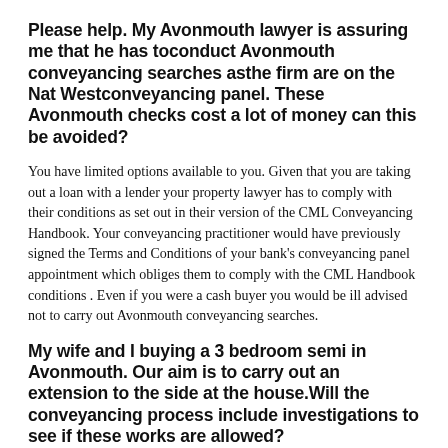Please help. My Avonmouth lawyer is assuring me that he has toconduct Avonmouth conveyancing searches asthe firm are on the Nat Westconveyancing panel. These Avonmouth checks cost a lot of money can this be avoided?
You have limited options available to you. Given that you are taking out a loan with a lender your property lawyer has to comply with their conditions as set out in their version of the CML Conveyancing Handbook. Your conveyancing practitioner would have previously signed the Terms and Conditions of your bank's conveyancing panel appointment which obliges them to comply with the CML Handbook conditions . Even if you were a cash buyer you would be ill advised not to carry out Avonmouth conveyancing searches.
My wife and I buying a 3 bedroom semi in Avonmouth. Our aim is to carry out an extension to the side at the house.Will the conveyancing process include investigations to see if these works are allowed?
Your solicitor will check the registered title as conveyancing in Avonmouth will on occasion identify restrictions in the title documents which restrict categories of works or require the